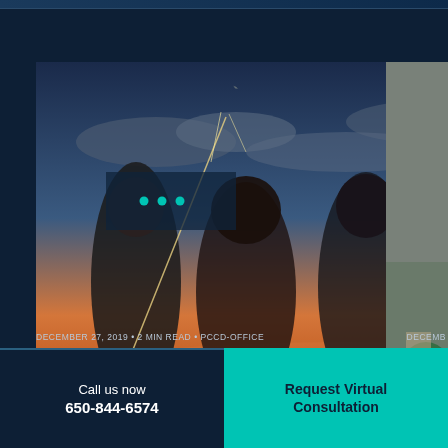[Figure (photo): Four young women celebrating outdoors at sunset, holding sparklers and smiling, wearing festive outfits]
[Figure (photo): Partial photo on right edge, partially visible, appears to show a hand holding something green]
DECEMBER 27, 2019 • 2 MIN READ • PCCD-OFFICE
DECEMB
Call us now
650-844-6574
Request Virtual Consultation